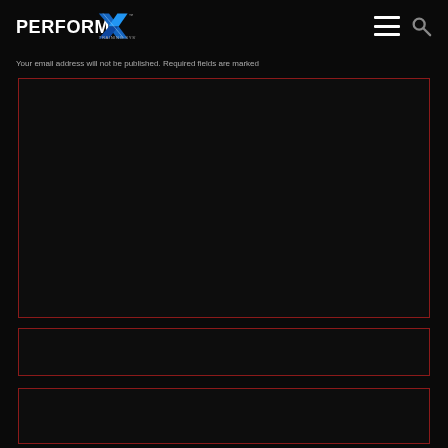PERFORMX Training Systems
Your email address will not be published. Required fields are marked
[Figure (other): Large dark form input area with red border]
[Figure (other): Medium dark form input area with red border]
[Figure (other): Bottom dark form input area with red border]